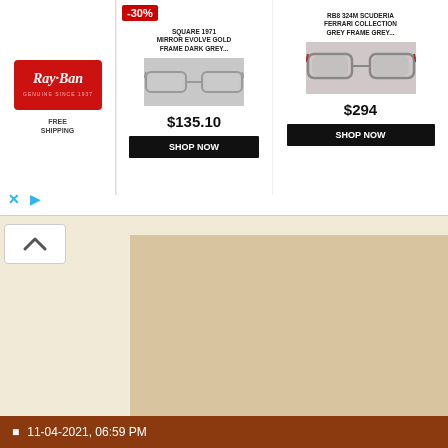[Figure (screenshot): Ray-Ban advertisement banner with logo, Free Shipping text, product 1 (Square 1971 Mirror Evolve Gold Frame Dark Grey, $135.10, -30% badge, Shop Now button), product 2 (RB8324M Scuderia Ferrari Collection Grey Frame Grey, $294, Shop Now button). Ad controls (X and play icons) visible bottom-left.]
[Figure (photo): Partial photo showing a person outdoors, blurred/cropped, visible in top-right area of page.]
"...the ramblings of a narcissistic... My poetry, plays, novels, & othe...
http://www.amazon.com/s/ref=n...
11-04-2021, 06:59 PM
Warning: Do NOT read this if...